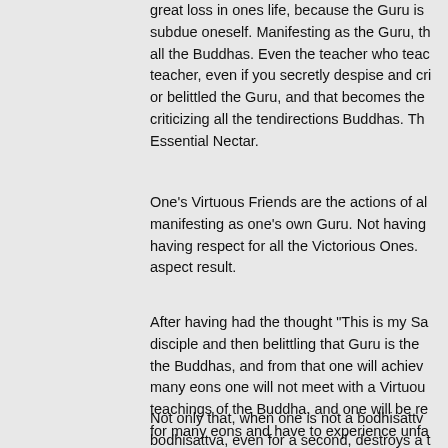great loss in ones life, because the Guru is subdue oneself. Manifesting as the Guru, th all the Buddhas. Even the teacher who teac teacher, even if you secretly despise and cri or belittled the Guru, and that becomes the criticizing all the tendirections Buddhas. Th Essential Nectar.
One's Virtuous Friends are the actions of al manifesting as one's own Guru. Not having having respect for all the Victorious Ones. aspect result.
After having had the thought "This is my Sa disciple and then belittling that Guru is the the Buddhas, and from that one will achiev many eons one will not meet with a Virtuo teachings of the Buddha, and one will be re for many eons and have to experience unfa
Not only that, when one is not a bodhisattv bodhisattva, even for a second, destroys a t